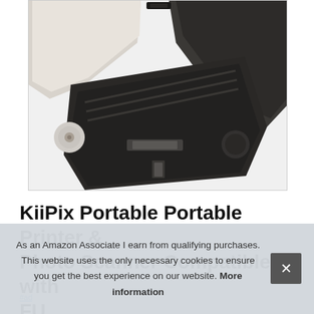[Figure (photo): Close-up product photo of a KiiPix Portable Printer showing the bottom/back of the device. The printer has a white/cream top casing and a dark charcoal/black body with ribbed sections and a paper output slot visible.]
KiiPix Portable Portable Printer & Photo Scanner Compatible with FU
#ad
As an Amazon Associate I earn from qualifying purchases. This website uses the only necessary cookies to ensure you get the best experience on our website. More information